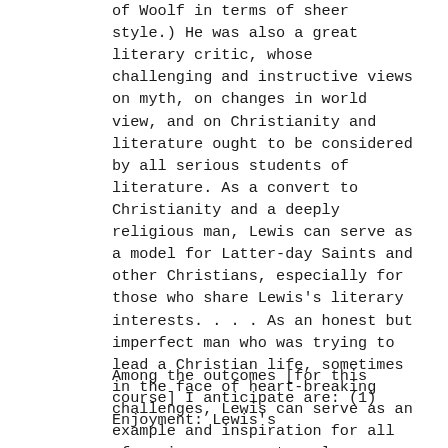of Woolf in terms of sheer style.) He was also a great literary critic, whose challenging and instructive views on myth, on changes in world view, and on Christianity and literature ought to be considered by all serious students of literature. As a convert to Christianity and a deeply religious man, Lewis can serve as a model for Latter-day Saints and other Christians, especially for those who share Lewis's literary interests. . . . As an honest but imperfect man who was trying to lead a Christian life, sometimes in the face of heart-breaking challenges, Lewis can serve as an example and inspiration for all of us in our own struggles. . . .
Among the outcomes [for this course] I anticipate are: (1) Enjoyment: Lewis's